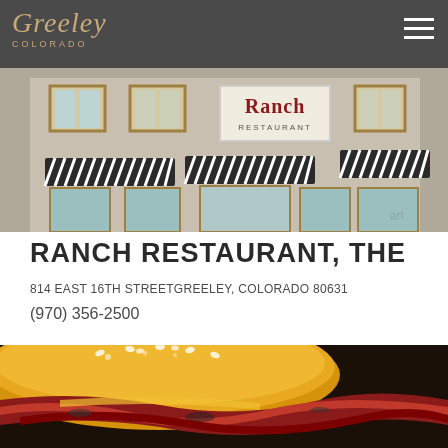Greeley
[Figure (photo): Exterior photo of Ranch Restaurant building, a brick building with striped awnings and a Ranch Restaurant sign]
RANCH RESTAURANT, THE
814 EAST 16TH STREETGREELEY, COLORADO 80631
(970) 356-2500
[Figure (photo): Close-up photo of a burger with bacon and sesame seed bun]